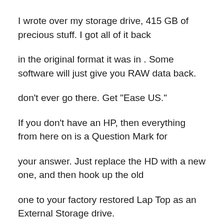I wrote over my storage drive, 415 GB of precious stuff. I got all of it back
in the original format it was in . Some software will just give you RAW data back.
don't ever go there. Get "Ease US."
If you don't have an HP, then everything from here on is a Question Mark for
your answer. Just replace the HD with a new one, and then hook up the old
one to your factory restored Lap Top as an External Storage drive.
If the original HD is not corrupted, it will run well and then